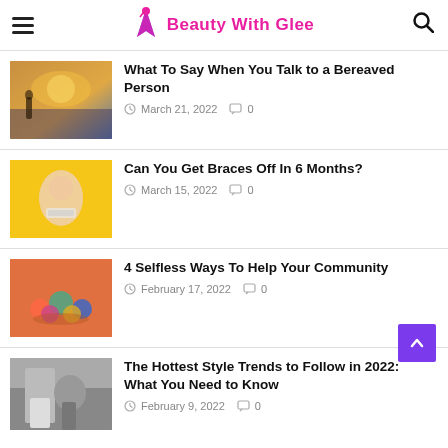Beauty With Glee
What To Say When You Talk to a Bereaved Person | March 21, 2022 | 0
Can You Get Braces Off In 6 Months? | March 15, 2022 | 0
4 Selfless Ways To Help Your Community | February 17, 2022 | 0
The Hottest Style Trends to Follow in 2022: What You Need to Know | February 9, 2022 | 0